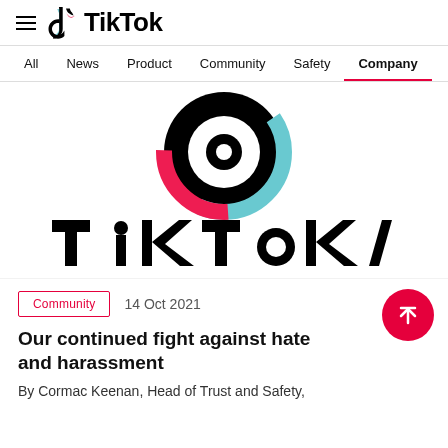TikTok
All  News  Product  Community  Safety  Company
[Figure (logo): TikTok logo — large circular logo with cyan and pink arcs on black ring, plus large stylized 'TikTok' wordmark text below]
Community  14 Oct 2021
Our continued fight against hate and harassment
By Cormac Keenan, Head of Trust and Safety,